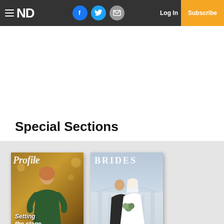≡ ND | [Facebook] [Twitter] [Mail] Log In | Subscribe
Special Sections
[Figure (illustration): Magazine cover 1: Profile/Setting the Stage - woman in green dress with autumn background]
[Figure (illustration): Magazine cover 2: Brides - couple in wedding attire in front of a building]